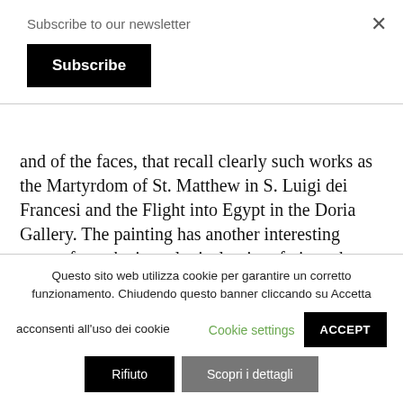Subscribe to our newsletter
Subscribe
and of the faces, that recall clearly such works as the Martyrdom of St. Matthew in S. Luigi dei Francesi and the Flight into Egypt in the Doria Gallery. The painting has another interesting aspect from the iconological point of view: the image of the Universe of which the interpretation is tied to a
Questo sito web utilizza cookie per garantire un corretto funzionamento. Chiudendo questo banner cliccando su Accetta acconsenti all'uso dei cookie  Cookie settings  ACCEPT
Rifiuto
Scopri i dettagli